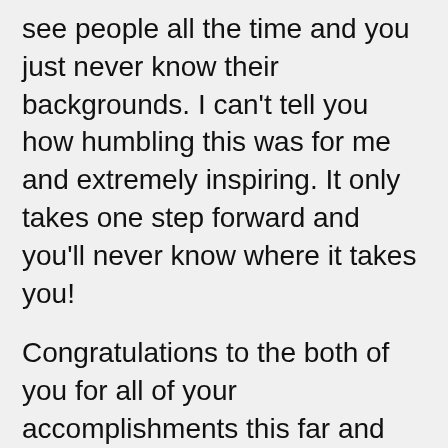see people all the time and you just never know their backgrounds. I can't tell you how humbling this was for me and extremely inspiring. It only takes one step forward and you'll never know where it takes you!
Congratulations to the both of you for all of your accomplishments this far and the extra push to show the masses that the Bahamas is far more than “sun, sand and sea”!
Very well written 🙂
★ Like